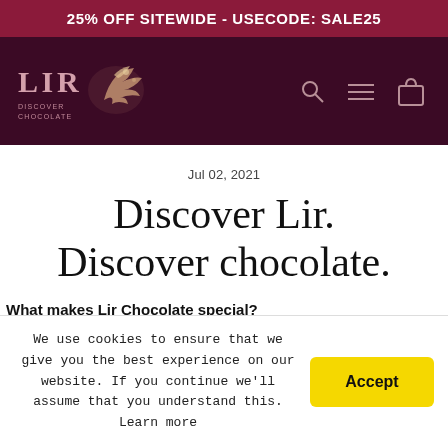25% OFF SITEWIDE - USECODE: SALE25
[Figure (logo): Lir Discover Chocolate logo with dark maroon navigation bar, stylized chocolate splash image, and navigation icons (search, menu, bag) on the right]
Jul 02, 2021
Discover Lir. Discover chocolate.
What makes Lir Chocolate special?
We use cookies to ensure that we give you the best experience on our website. If you continue we'll assume that you understand this. Learn more